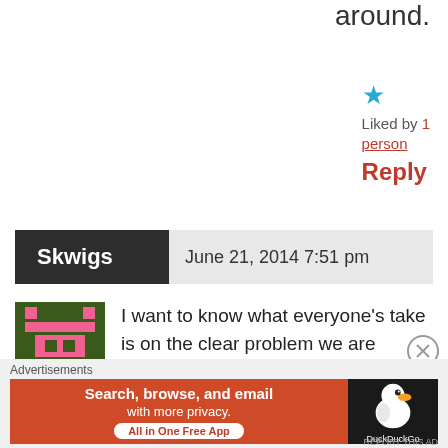around.
Liked by 1 person
Reply
Skwigs   June 21, 2014 7:51 pm
I want to know what everyone's take is on the clear problem we are seeing with incorrect offside calls leading to disallowed goals. You are a ref and you have been asked by FIFA for your input. What would you recommend: Would you
[Figure (other): Advertisements banner - DuckDuckGo ad: Search, browse, and email with more privacy. All in One Free App]